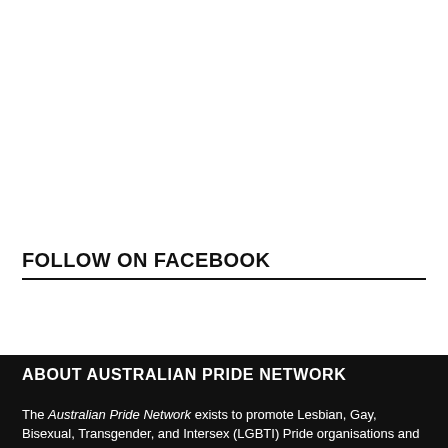FOLLOW ON FACEBOOK
ABOUT AUSTRALIAN PRIDE NETWORK
The Australian Pride Network exists to promote Lesbian, Gay, Bisexual, Transgender, and Intersex (LGBTI) Pride organisations and